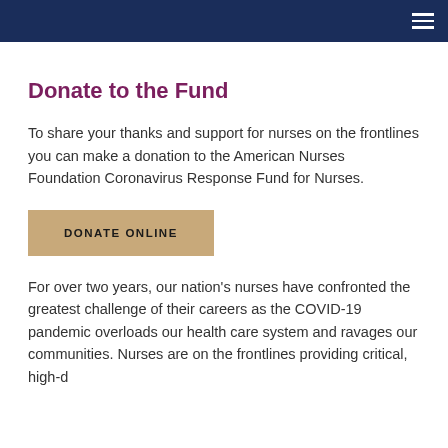Donate to the Fund
To share your thanks and support for nurses on the frontlines you can make a donation to the American Nurses Foundation Coronavirus Response Fund for Nurses.
DONATE ONLINE
For over two years, our nation's nurses have confronted the greatest challenge of their careers as the COVID-19 pandemic overloads our health care system and ravages our communities. Nurses are on the frontlines providing critical, high-d